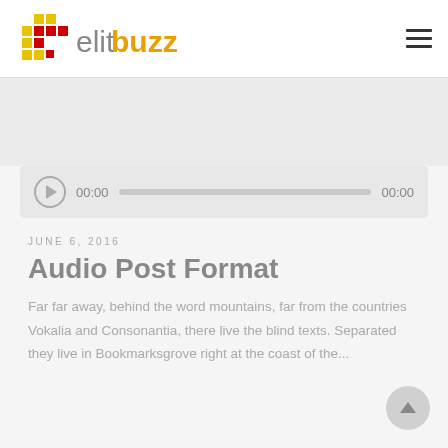elitbuzz
[Figure (other): Gray banner/advertisement area]
[Figure (other): Audio player widget showing 00:00 / 00:00 with play button and progress bar]
JUNE 6, 2016
Audio Post Format
Far far away, behind the word mountains, far from the countries Vokalia and Consonantia, there live the blind texts. Separated they live in Bookmarksgrove right at the coast of the...